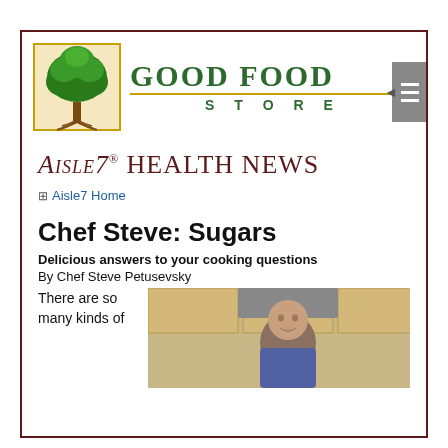[Figure (logo): Good Food Store logo with tree graphic and store name in green]
AISLE7® Health News
Aisle7 Home
Chef Steve: Sugars
Delicious answers to your cooking questions
By Chef Steve Petusevsky
There are so many kinds of
[Figure (photo): Chef Steve Petusevsky smiling in a kitchen setting]